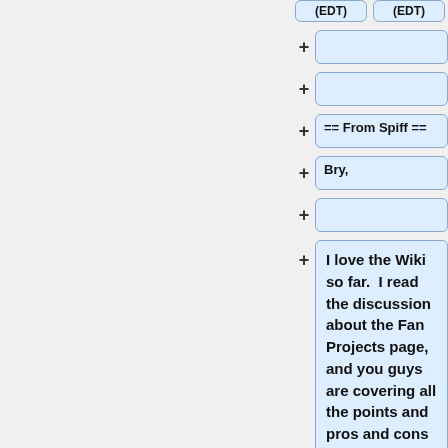(EDT)
(EDT)
+
+
== From Spiff ==
+ Bry,
+
I love the Wiki so far.  I read the discussion about the Fan Projects page, and you guys are covering all the points and pros and cons that I would think need to be covered too.